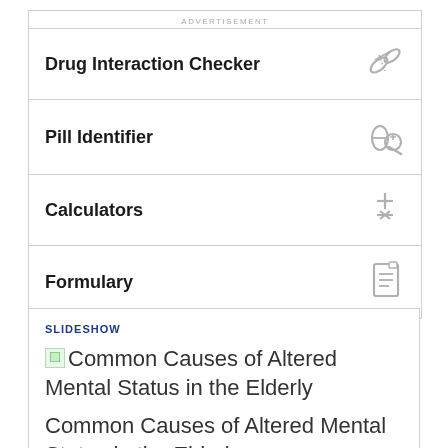ADVERTISEMENT
Drug Interaction Checker
Pill Identifier
Calculators
Formulary
SLIDESHOW
[Figure (other): Broken image placeholder for slideshow]
Common Causes of Altered Mental Status in the Elderly